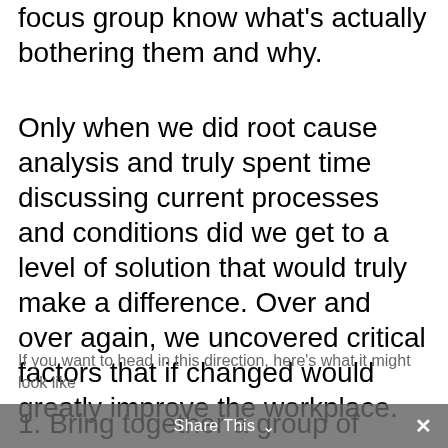focus group know what's actually bothering them and why.
Only when we did root cause analysis and truly spent time discussing current processes and conditions did we get to a level of solution that would truly make a difference. Over and over again, we uncovered critical factors that if changed would greatly improve the workplace.
If you want to head in this direction, here's what it might look like
1. Bring together a group of about 20 team members with only a few in leadership roles. This group can be sponsored by HR or other leadership. Have the group review the survey.
2. Pick about three areas to improve
Share This  ∨  ×